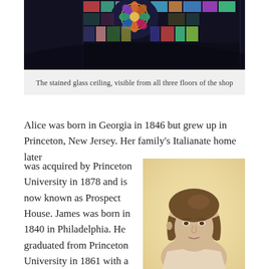[Figure (photo): Photograph of a stained glass ceiling with colorful panels, viewed from below against a dark background]
The stained glass ceiling, visible from all three floors of the shop
Alice was born in Georgia in 1846 but grew up in Princeton, New Jersey. Her family's Italianate home later was acquired by Princeton University in 1878 and is now known as Prospect House. James was born in 1840 in Philadelphia. He graduated from Princeton University in 1861 with a Bachelor of Arts. James Dundas Lippincott and Alice
[Figure (photo): Sepia-toned portrait photograph of a woman with hair pulled back, wearing Victorian-era clothing, set against a cream/yellow background]